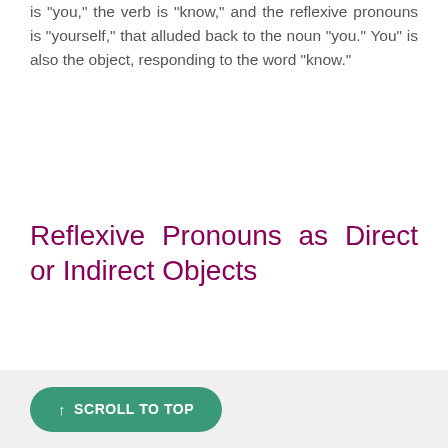is "you," the verb is "know," and the reflexive pronouns is "yourself," that alluded back to the noun "you." You" is also the object, responding to the word "know."
Reflexive Pronouns as Direct or Indirect Objects
↑ SCROLL TO TOP